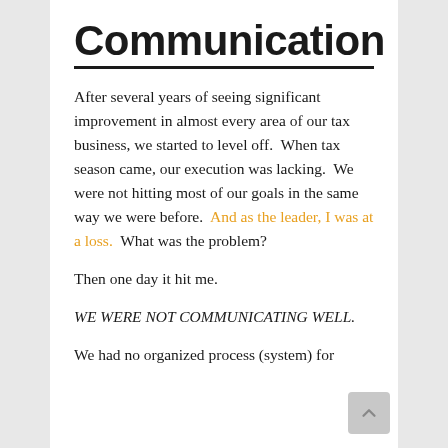Communication
After several years of seeing significant improvement in almost every area of our tax business, we started to level off.  When tax season came, our execution was lacking.  We were not hitting most of our goals in the same way we were before.  And as the leader, I was at a loss.  What was the problem?
Then one day it hit me.
WE WERE NOT COMMUNICATING WELL.
We had no organized process (system) for